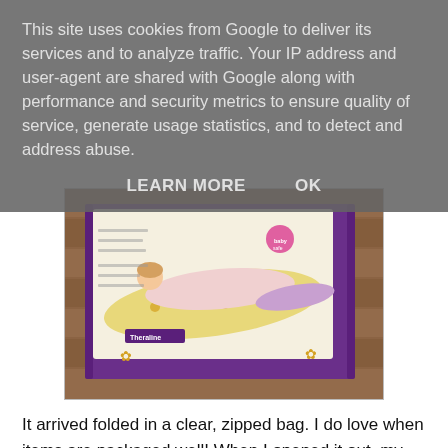This site uses cookies from Google to deliver its services and to analyze traffic. Your IP address and user-agent are shared with Google along with performance and security metrics to ensure quality of service, generate usage statistics, and to detect and address abuse.
LEARN MORE    OK
[Figure (photo): Photo of a pregnancy/body pillow product box on a wooden floor. The box shows a woman lying on a large curved pillow with a yellow floral pattern. The box has purple sides and the brand name 'Theraline' is visible.]
It arrived folded in a clear, zipped bag. I do love when items are packaged well! When I opened it out, my first thought was that it was huge but that was understandable as it needs to be the full length of your body. Part of me expected a plushy, soft pillow but that's not the case. The pillow is filled with little beads so you can easily mould it into position. When I was in bed, I would tend to keep the part of the pillow...